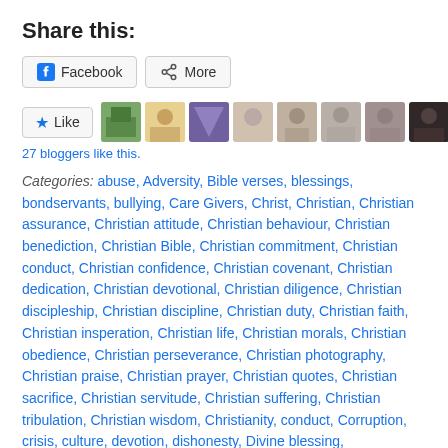Share this:
Facebook | More (share buttons)
Like | 27 bloggers like this.
Categories: abuse, Adversity, Bible verses, blessings, bondservants, bullying, Care Givers, Christ, Christian, Christian assurance, Christian attitude, Christian behaviour, Christian benediction, Christian Bible, Christian commitment, Christian conduct, Christian confidence, Christian covenant, Christian dedication, Christian devotional, Christian diligence, Christian discipleship, Christian discipline, Christian duty, Christian faith, Christian insperation, Christian life, Christian morals, Christian obedience, Christian perseverance, Christian photography, Christian praise, Christian prayer, Christian quotes, Christian sacrifice, Christian servitude, Christian suffering, Christian tribulation, Christian wisdom, Christianity, conduct, Corruption, crisis, culture, devotion, dishonesty, Divine blessing, domineering, elder care, endurance, evil, fighting, finances, Godliness, Gods will, greed, grievance, hostility, immorality, inheritance, injustice, Jehovah, Jesus, liars, liberalism, money, narcissist, oppression, Prayer of Gratitude, prayer of love, prayer of thanksgiving, prayer of worship, Prayers Answered, praying, pretentious, pride, scripture, self centered, sermons, society, stress, strife, suffering, The